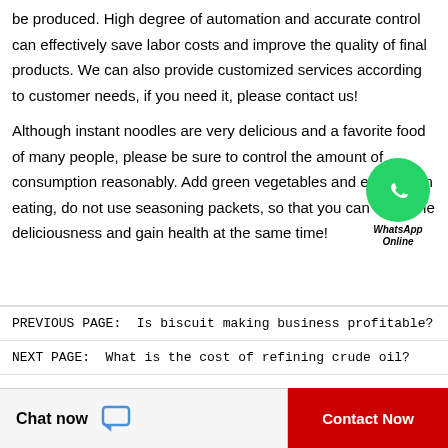be produced. High degree of automation and accurate control can effectively save labor costs and improve the quality of final products. We can also provide customized services according to customer needs, if you need it, please contact us!
Although instant noodles are very delicious and a favorite food of many people, please be sure to control the amount of consumption reasonably. Add green vegetables and eggs when eating, do not use seasoning packets, so that you can enjoy the deliciousness and gain health at the same time!
[Figure (logo): WhatsApp Online badge with green circle phone icon and italic text 'WhatsApp Online']
PREVIOUS PAGE:  Is biscuit making business profitable?
NEXT PAGE:  What is the cost of refining crude oil?
Chat now   Contact Now